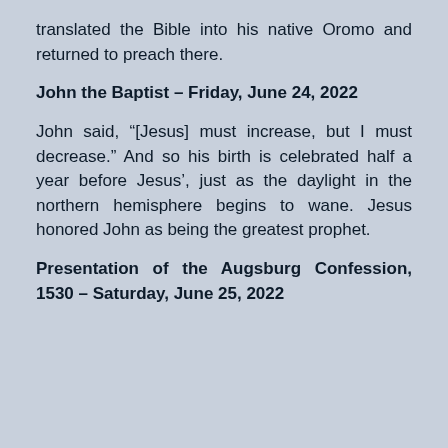translated the Bible into his native Oromo and returned to preach there.
John the Baptist – Friday, June 24, 2022
John said, “[Jesus] must increase, but I must decrease.” And so his birth is celebrated half a year before Jesus’, just as the daylight in the northern hemisphere begins to wane. Jesus honored John as being the greatest prophet.
Presentation of the Augsburg Confession, 1530 – Saturday, June 25, 2022